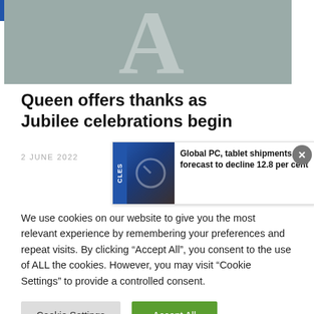[Figure (illustration): Hero image with large watermark letter 'A' on grey-green background]
Queen offers thanks as Jubilee celebrations begin
2 JUNE 2022
[Figure (screenshot): Ad banner: Global PC, tablet shipments forecast to decline 12.8 per cent — with blue sidebar, laptop image, and close button]
We use cookies on our website to give you the most relevant experience by remembering your preferences and repeat visits. By clicking "Accept All", you consent to the use of ALL the cookies. However, you may visit "Cookie Settings" to provide a controlled consent.
Cookie Settings  Accept All